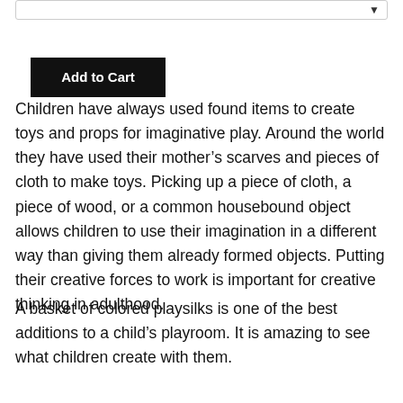Add to Cart
Children have always used found items to create toys and props for imaginative play. Around the world they have used their mother’s scarves and pieces of cloth to make toys. Picking up a piece of cloth, a piece of wood, or a common housebound object allows children to use their imagination in a different way than giving them already formed objects. Putting their creative forces to work is important for creative thinking in adulthood.
A basket of colored playsilks is one of the best additions to a child’s playroom. It is amazing to see what children create with them.